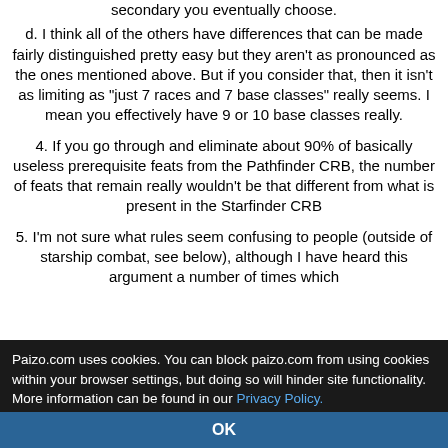secondary you eventually choose.
d. I think all of the others have differences that can be made fairly distinguished pretty easy but they aren't as pronounced as the ones mentioned above. But if you consider that, then it isn't as limiting as "just 7 races and 7 base classes" really seems. I mean you effectively have 9 or 10 base classes really.
4. If you go through and eliminate about 90% of basically useless prerequisite feats from the Pathfinder CRB, the number of feats that remain really wouldn't be that different from what is present in the Starfinder CRB
5. I'm not sure what rules seem confusing to people (outside of starship combat, see below), although I have heard this argument a number of times which
Paizo.com uses cookies. You can block paizo.com from using cookies within your browser settings, but doing so will hinder site functionality. More information can be found in our Privacy Policy.
OK